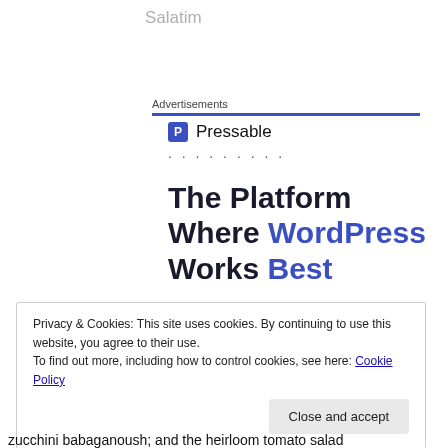Salatim
Advertisements
[Figure (logo): Pressable logo with blue 'P' icon and dotted separator line]
The Platform Where WordPress Works Best
Privacy & Cookies: This site uses cookies. By continuing to use this website, you agree to their use.
To find out more, including how to control cookies, see here: Cookie Policy
Close and accept
zucchini babaganoush; and the heirloom tomato salad